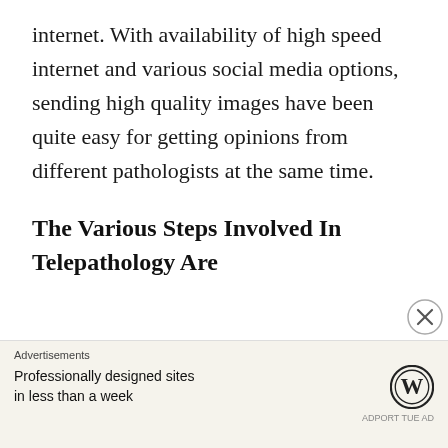internet. With availability of high speed internet and various social media options, sending high quality images have been quite easy for getting opinions from different pathologists at the same time.
The Various Steps Involved In Telepathology Are
[Figure (other): Advertisement banner showing 'Professionally designed sites in less than a week' with WordPress logo]